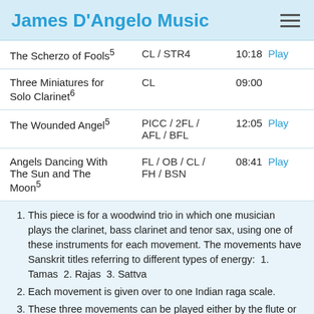James D'Angelo Music
| Title | Instrumentation | Duration |
| --- | --- | --- |
| The Scherzo of Fools⁵ | CL / STR4 | 10:18  Play |
| Three Miniatures for Solo Clarinet⁶ | CL | 09:00 |
| The Wounded Angel⁵ | PICC / 2FL / AFL / BFL | 12:05  Play |
| Angels Dancing With The Sun and The Moon⁵ | FL / OB / CL / FH / BSN | 08:41  Play |
This piece is for a woodwind trio in which one musician plays the clarinet, bass clarinet and tenor sax, using one of these instruments for each movement. The movements have Sanskrit titles referring to different types of energy: 1. Tamas  2. Rajas  3. Sattva
Each movement is given over to one Indian raga scale.
These three movements can be played either by the flute or recorder. The drone effect, which is optional, is played